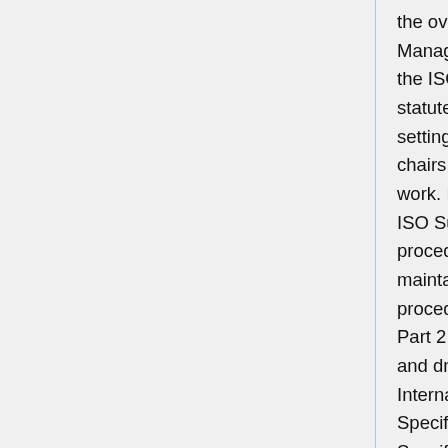the overall management of the Technical Management Board (TMB). The TMB reports to the ISO Council and its role is defined in the statutes of the organisation. TMB tasks include setting up technical committees, appointing chairs and monitoring the progress of technical work. ISO/IEC Directives Part 1 Consolidated ISO Supplement (2014) provide official procedures to be followed when developing and maintaining an International Standard and procedures specific to ISO. ISO/IEC Directives Part 2 (2011) details the principles to structure and draft documents intended to become International Standards, Technical Specifications or Publicly Available Specifications. ISO standards are developed by groups of experts within technical committees (TC).